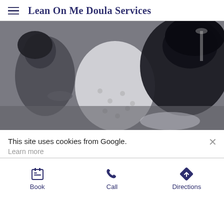Lean On Me Doula Services
[Figure (photo): Black and white photograph of a doula supporting a person in labor, close-up scene in a medical setting]
This site uses cookies from Google.
Learn more
Book   Call   Directions